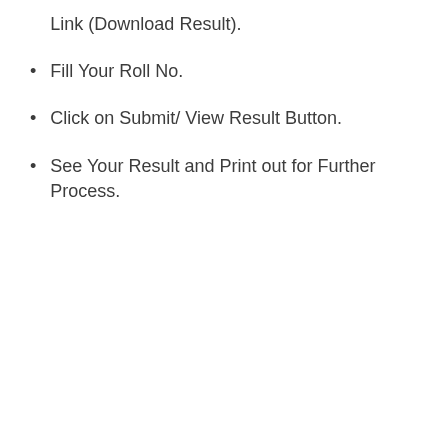Link (Download Result).
Fill Your Roll No.
Click on Submit/ View Result Button.
See Your Result and Print out for Further Process.